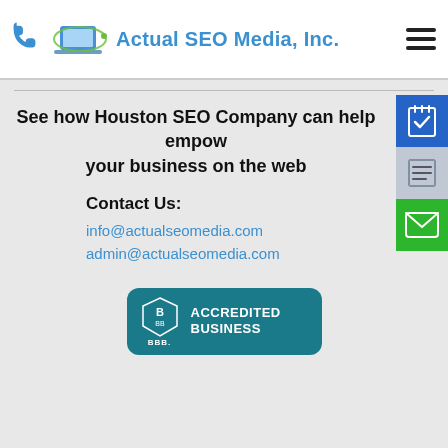[Figure (logo): Actual SEO Media, Inc. logo with phone icon, laptop with orbit ring, and company name in blue text, plus hamburger menu icon on the right]
See how Houston SEO Company can help empower your business on the web
Contact Us:
info@actualseomedia.com
admin@actualseomedia.com
[Figure (logo): BBB Accredited Business badge — teal/dark cyan background with BBB shield logo on left and 'ACCREDITED BUSINESS' text on right in white]